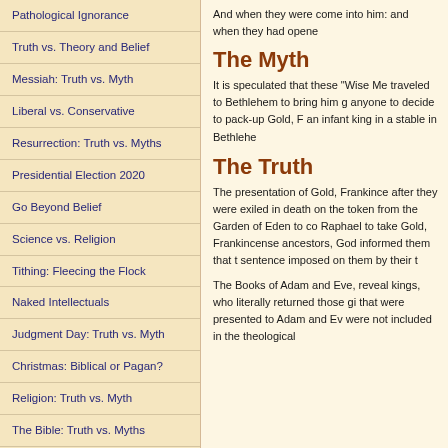Pathological Ignorance
Truth vs. Theory and Belief
Messiah: Truth vs. Myth
Liberal vs. Conservative
Resurrection: Truth vs. Myths
Presidential Election 2020
Go Beyond Belief
Science vs. Religion
Tithing: Fleecing the Flock
Naked Intellectuals
Judgment Day: Truth vs. Myth
Christmas: Biblical or Pagan?
Religion: Truth vs. Myth
The Bible: Truth vs. Myths
And when they were come into him: and when they had opene
The Myth
It is speculated that these "Wise Me traveled to Bethlehem to bring him g anyone to decide to pack-up Gold, F an infant king in a stable in Bethlehe
The Truth
The presentation of Gold, Frankince after they were exiled in death on the token from the Garden of Eden to co Raphael to take Gold, Frankincense ancestors, God informed them that t sentence imposed on them by their t
The Books of Adam and Eve, reveal kings, who literally returned those gi that were presented to Adam and Ev were not included in the theological